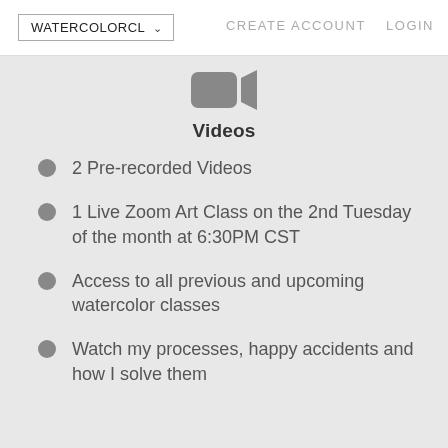WATERCOLORCL  CREATE ACCOUNT  LOGIN
[Figure (illustration): Video camera icon (dark gray rounded rectangle shape) at top of content section]
Videos
2 Pre-recorded Videos
1 Live Zoom Art Class on the 2nd Tuesday of the month at 6:30PM CST
Access to all previous and upcoming watercolor classes
Watch my processes, happy accidents and how I solve them